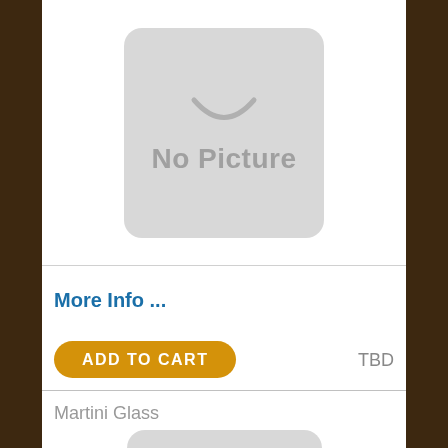[Figure (other): No Picture placeholder image with smiley face arc, light gray rounded rectangle]
More Info ...
ADD TO CART
TBD
Martini Glass
[Figure (other): No Picture placeholder image with smiley face arc, light gray rounded rectangle, partial view]